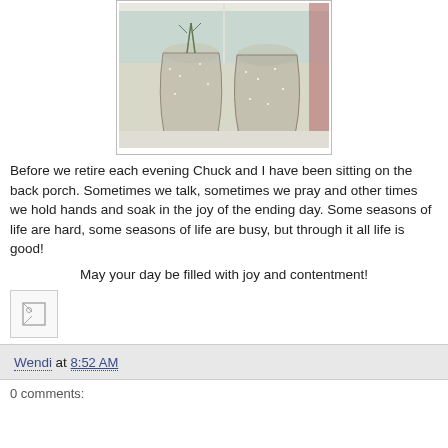[Figure (photo): Two glass jars/vases with plants or greenery inside, sitting on a windowsill. The photo is slightly washed out with natural light coming through the window behind them.]
Before we retire each evening Chuck and I have been sitting on the back porch. Sometimes we talk, sometimes we pray and other times we hold hands and soak in the joy of the ending day. Some seasons of life are hard, some seasons of life are busy, but through it all life is good!
May your day be filled with joy and contentment!
[Figure (illustration): Small broken/placeholder image icon]
Wendi at 8:52 AM
0 comments: